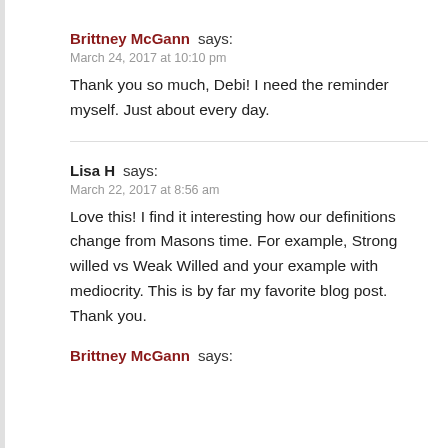Brittney McGann says:
March 24, 2017 at 10:10 pm
Thank you so much, Debi! I need the reminder myself. Just about every day.
Lisa H says:
March 22, 2017 at 8:56 am
Love this! I find it interesting how our definitions change from Masons time. For example, Strong willed vs Weak Willed and your example with mediocrity. This is by far my favorite blog post. Thank you.
Brittney McGann says: